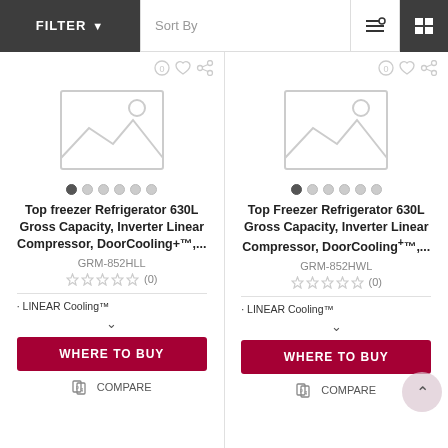FILTER   Sort By
[Figure (screenshot): Product listing page showing two LG refrigerator products side by side with filter/sort bar at top]
Top freezer Refrigerator 630L Gross Capacity, Inverter Linear Compressor, DoorCooling+™,...
GRM-852HLL
(0)
• LINEAR Cooling™
WHERE TO BUY
COMPARE
Top Freezer Refrigerator 630L Gross Capacity, Inverter Linear Compressor, DoorCooling+™,...
GRM-852HWL
(0)
• LINEAR Cooling™
WHERE TO BUY
COMPARE